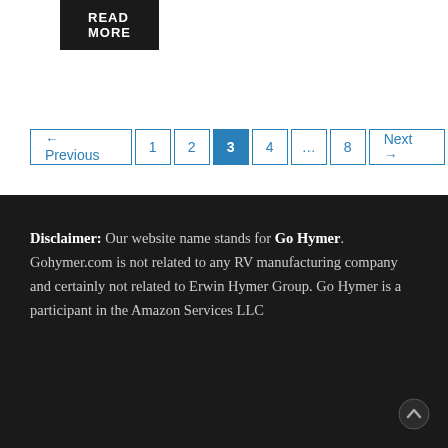READ MORE
← Previous 1 2 3 4 … 8 Next →
Disclaimer: Our website name stands for Go Hymer. Gohymer.com is not related to any RV manufacturing company and certainly not related to Erwin Hymer Group. Go Hymer is a participant in the Amazon Services LLC